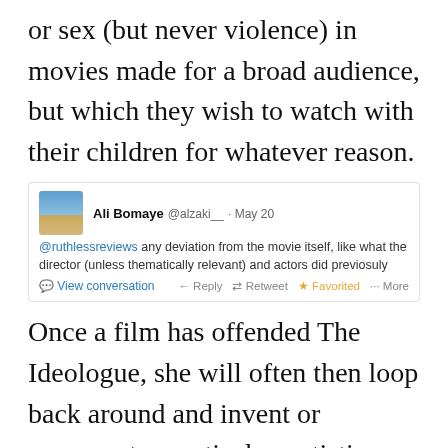or sex (but never violence) in movies made for a broad audience, but which they wish to watch with their children for whatever reason.
[Figure (screenshot): Tweet from Ali Bomaye (@alzaki__) on May 20: '@ruthlessreviews any deviation from the movie itself, like what the director (unless thematically relevant) and actors did previosuly'. Actions: View conversation, Reply, Retweet, Favorited, More.]
Once a film has offended The Ideologue, she will often then loop back around and invent or exaggerate practical or artistic flaws in a transparent effort to prove that the negative review isn't all driven by a personal agenda. She just happens to be a stickler for costume design in movies that deal with global